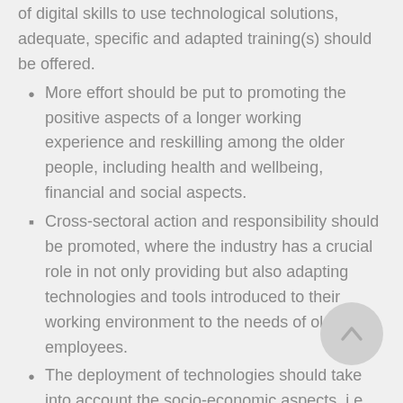enter the labour market because of their lack of digital skills to use technological solutions, adequate, specific and adapted training(s) should be offered.
More effort should be put to promoting the positive aspects of a longer working experience and reskilling among the older people, including health and wellbeing, financial and social aspects.
Cross-sectoral action and responsibility should be promoted, where the industry has a crucial role in not only providing but also adapting technologies and tools introduced to their working environment to the needs of older employees.
The deployment of technologies should take into account the socio-economic aspects, i.e. the availability of the devices and